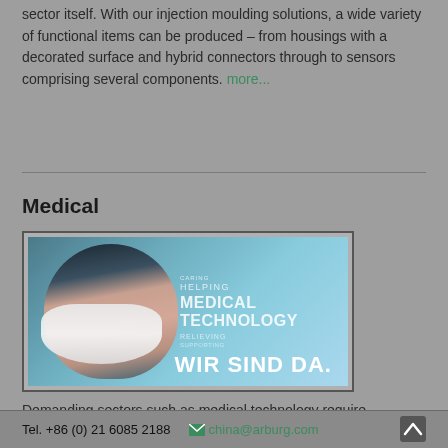sector itself. With our injection moulding solutions, a wide variety of functional items can be produced – from housings with a decorated surface and hybrid connectors through to sensors comprising several components. more...
Medical
[Figure (photo): Woman wearing a medical oxygen mask against a light blue background, with overlaid text reading 'HELPING MEDICAL TECHNOLOGY' and 'WIR SIND DA.' (German for 'We are here.')]
Demanding sectors such as medical technology require reliability. Our flexible clean room concepts meet the challenging requirements in terms of precision and cleanliness. With specially equipped
Tel. +86 (0) 21 6085 2188    china@arburg.com